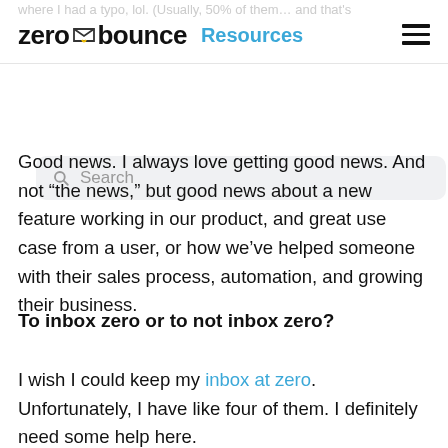where I had a typo, lol. (Usually, 50% of them… and that's  zerobounce Resources
Search
Good news. I always love getting good news. And not “the news,” but good news about a new feature working in our product, and great use case from a user, or how we’ve helped someone with their sales process, automation, and growing their business.
To inbox zero or to not inbox zero?
I wish I could keep my inbox at zero. Unfortunately, I have like four of them. I definitely need some help here.